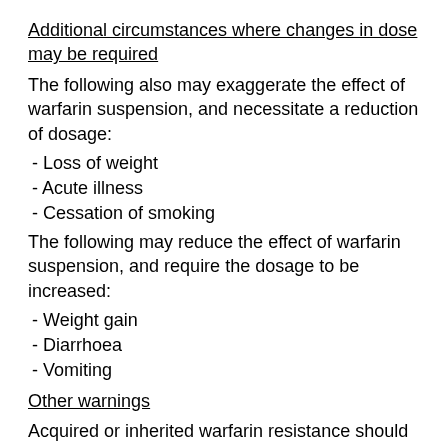Additional circumstances where changes in dose may be required
The following also may exaggerate the effect of warfarin suspension, and necessitate a reduction of dosage:
- Loss of weight
- Acute illness
- Cessation of smoking
The following may reduce the effect of warfarin suspension, and require the dosage to be increased:
- Weight gain
- Diarrhoea
- Vomiting
Other warnings
Acquired or inherited warfarin resistance should